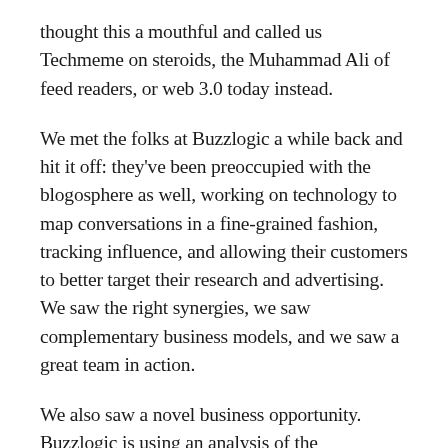thought this a mouthful and called us Techmeme on steroids, the Muhammad Ali of feed readers, or web 3.0 today instead.
We met the folks at Buzzlogic a while back and hit it off: they've been preoccupied with the blogosphere as well, working on technology to map conversations in a fine-grained fashion, tracking influence, and allowing their customers to better target their research and advertising. We saw the right synergies, we saw complementary business models, and we saw a great team in action.
We also saw a novel business opportunity. Buzzlogic is using an analysis of the blogosphere similar to ours to help advertisers identify its most influential regions, on which to message potential customers. Buzzlogic calls this conversation tracking. Both their current technologies and the directions in which they're taking them align well